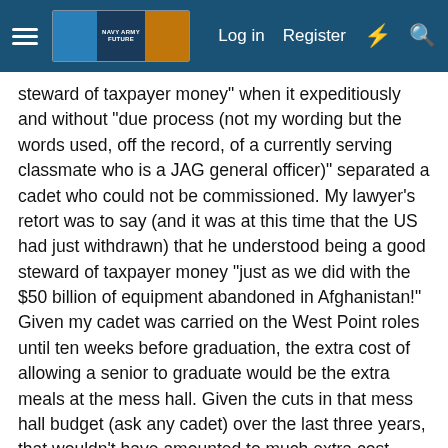Navigation header with menu, logo, Log in, Register, and search icons
steward of taxpayer money" when it expeditiously and without "due process (not my wording but the words used, off the record, of a currently serving classmate who is a JAG general officer)" separated a cadet who could not be commissioned. My lawyer's retort was to say (and it was at this time that the US had just withdrawn) that he understood being a good steward of taxpayer money "just as we did with the $50 billion of equipment abandoned in Afghanistan!" Given my cadet was carried on the West Point roles until ten weeks before graduation, the extra cost of allowing a senior to graduate would be the extra meals at the mess hall. Given the cuts in that mess hall budget (ask any cadet) over the last three years, that wouldn't have amounted to much extra cost.
I can tell you from personal experience that it would not take extra federal funds to have the USMA Dean and his staff work out articulation agreements with a few top universities that would be willing to accept separated senior (and perhaps other classes) of cadets who have had military and physical education classes from the hard findings of changes in their organization in